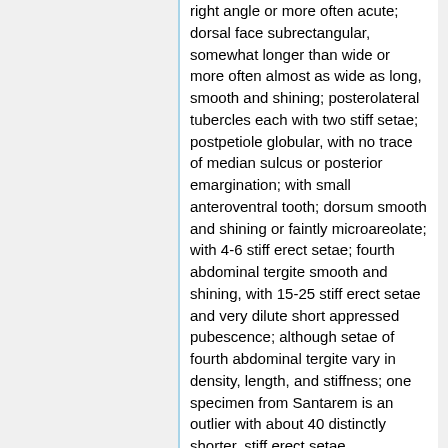right angle or more often acute; dorsal face subrectangular, somewhat longer than wide or more often almost as wide as long, smooth and shining; posterolateral tubercles each with two stiff setae; postpetiole globular, with no trace of median sulcus or posterior emargination; with small anteroventral tooth; dorsum smooth and shining or faintly microareolate; with 4-6 stiff erect setae; fourth abdominal tergite smooth and shining, with 15-25 stiff erect setae and very dilute short appressed pubescence; although setae of fourth abdominal tergite vary in density, length, and stiffness; one specimen from Santarem is an outlier with about 40 distinctly shorter, stiff erect setae.
Queen